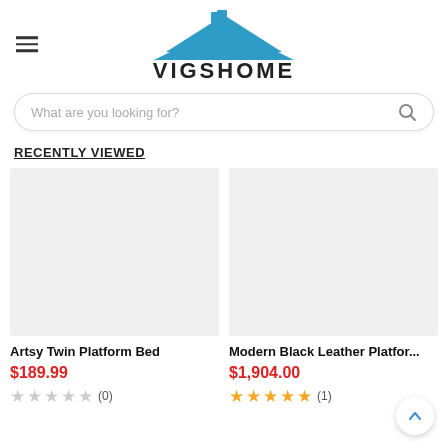[Figure (logo): VIGSHOME logo with blue house roof graphic above stylized text]
What are you looking for?
RECENTLY VIEWED
[Figure (photo): Product image placeholder for Artsy Twin Platform Bed (gray/empty)]
Artsy Twin Platform Bed
$189.99
(0)
[Figure (photo): Product image placeholder for Modern Black Leather Platform Bed (gray/empty)]
Modern Black Leather Platfor...
$1,904.00
(1)